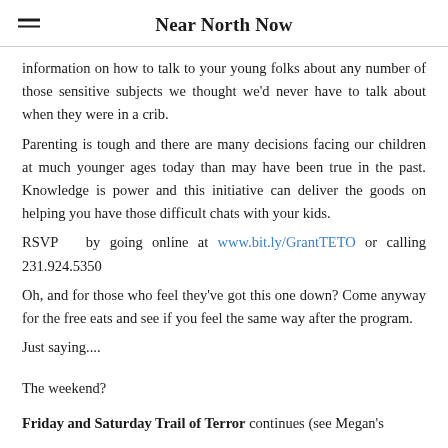Near North Now
information on how to talk to your young folks about any number of those sensitive subjects we thought we'd never have to talk about when they were in a crib.
Parenting is tough and there are many decisions facing our children at much younger ages today than may have been true in the past. Knowledge is power and this initiative can deliver the goods on helping you have those difficult chats with your kids.
RSVP by going online at www.bit.ly/GrantTETO or calling 231.924.5350
Oh, and for those who feel they've got this one down? Come anyway for the free eats and see if you feel the same way after the program.
Just saying....
The weekend?
Friday and Saturday Trail of Terror continues (see Megan's